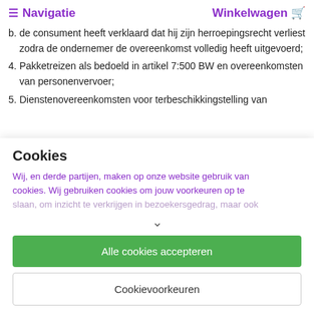≡ Navigatie    Winkelwagen 🛒
b. de consument heeft verklaard dat hij zijn herroepingsrecht verliest zodra de ondernemer de overeenkomst volledig heeft uitgevoerd;
4. Pakketreizen als bedoeld in artikel 7:500 BW en overeenkomsten van personenvervoer;
5. Dienstenovereenkomsten voor terbeschikkingstelling van
Cookies
Wij, en derde partijen, maken op onze website gebruik van cookies. Wij gebruiken cookies om jouw voorkeuren op te slaan, om inzicht te verkrijgen in bezoekersgedrag, maar ook
Alle cookies accepteren
Cookievoorkeuren